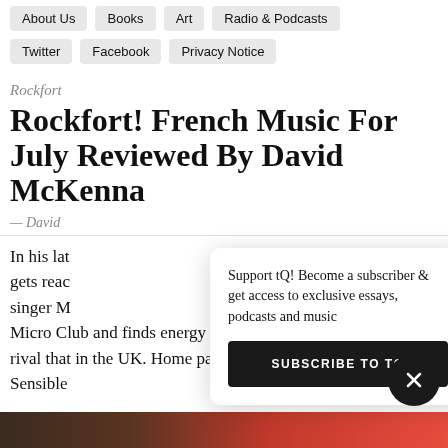About Us   Books   Art   Radio & Podcasts
Twitter   Facebook   Privacy Notice
Rockfort
Rockfort! French Music For July Reviewed By David McKenna
— David
In his late gets reac singer M Micro Club and finds energy in the young French jazz scene to rival that in the UK. Home page photograph: Edredon Sensible
Support tQ! Become a subscriber & get access to exclusive essays, podcasts and music
SUBSCRIBE TO TQ